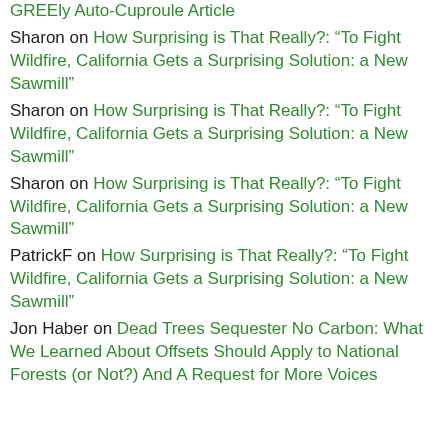GREEly Auto-Cuproule Article (partial, cut off at top)
Sharon on How Surprising is That Really?: “To Fight Wildfire, California Gets a Surprising Solution: a New Sawmill”
Sharon on How Surprising is That Really?: “To Fight Wildfire, California Gets a Surprising Solution: a New Sawmill”
Sharon on How Surprising is That Really?: “To Fight Wildfire, California Gets a Surprising Solution: a New Sawmill”
PatrickF on How Surprising is That Really?: “To Fight Wildfire, California Gets a Surprising Solution: a New Sawmill”
Jon Haber on Dead Trees Sequester No Carbon: What We Learned About Offsets Should Apply to National Forests (or Not?) And A Request for More Voices